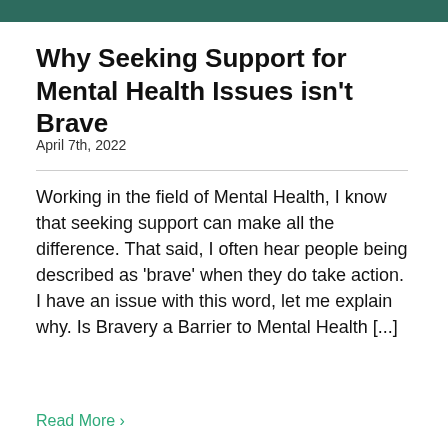Why Seeking Support for Mental Health Issues isn't Brave
April 7th, 2022
Working in the field of Mental Health, I know that seeking support can make all the difference. That said, I often hear people being described as 'brave' when they do take action. I have an issue with this word, let me explain why. Is Bravery a Barrier to Mental Health [...]
Read More >